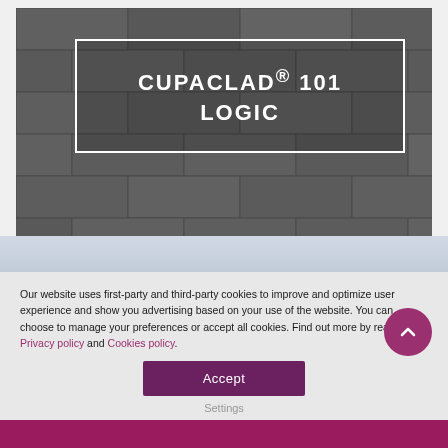[Figure (photo): Slate cladding panels in dark grey arranged in horizontal rows, showing the CUPACLAD 101 LOGIC product. A white rectangular border box overlays the upper center of the image containing the product title text.]
CUPACLAD® 101 LOGIC
Our website uses first-party and third-party cookies to improve and optimize user experience and show you advertising based on your use of the website. You can choose to manage your preferences or accept all cookies. Find out more by reading our Privacy policy and Cookies policy.
Accept
Settings